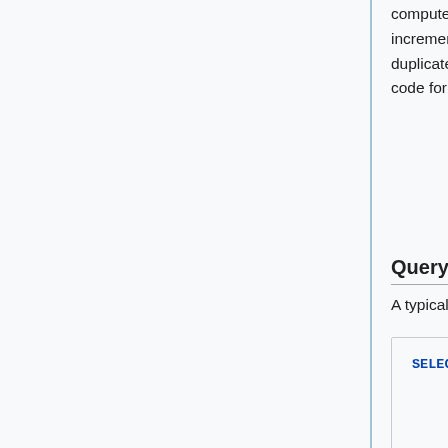computed using a 'sequence' number, a counter generated by each varnishkafka process incrementing its value for each line it outputs. This sequence number allows to track for duplicates and missing data using some arithmetics (max, min, distinct). For details, see the code for webrequest_sequence_stats and webrequest_sequence_stats_hourly.
Querying the statistics
A typical query of these statistics is:
[Figure (screenshot): Code block showing a SQL SELECT query with fields: year, month, day, hour, webrequest_source, percent_lost, percent_duplicate]